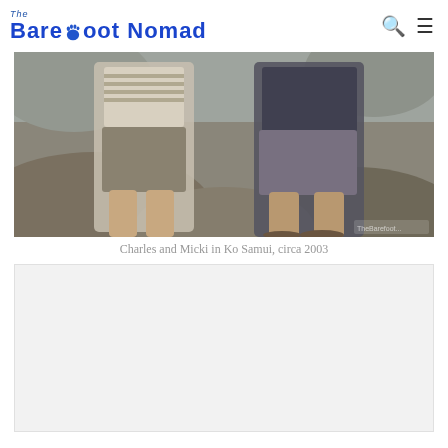The Barefoot Nomad
[Figure (photo): Two people (Charles and Micki) sitting on large rocks, photographed from shoulders down. Woman in striped top and shorts on left, man in dark shirt and shorts on right. Rocky beach setting.]
Charles and Micki in Ko Samui, circa 2003
[Figure (photo): Second photo placeholder area, light gray background]